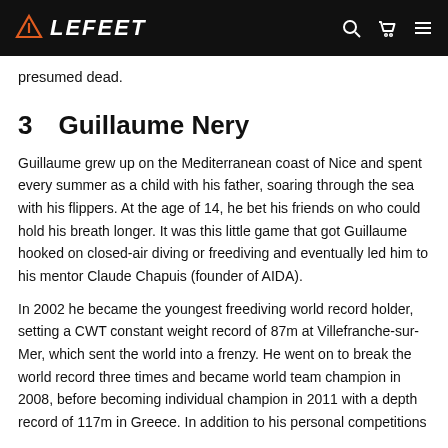LEFEET
presumed dead.
3　Guillaume Nery
Guillaume grew up on the Mediterranean coast of Nice and spent every summer as a child with his father, soaring through the sea with his flippers. At the age of 14, he bet his friends on who could hold his breath longer. It was this little game that got Guillaume hooked on closed-air diving or freediving and eventually led him to his mentor Claude Chapuis (founder of AIDA).
In 2002 he became the youngest freediving world record holder, setting a CWT constant weight record of 87m at Villefranche-sur-Mer, which sent the world into a frenzy. He went on to break the world record three times and became world team champion in 2008, before becoming individual champion in 2011 with a depth record of 117m in Greece. In addition to his personal competitions